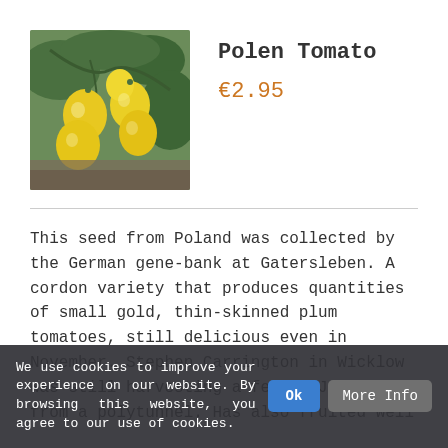[Figure (photo): Photo of yellow plum tomatoes on the vine against a green and brown garden background]
Polen Tomato
€2.95
This seed from Poland was collected by the German gene-bank at Gatersleben. A cordon variety that produces quantities of small gold, thin-skinned plum tomatoes, still delicious even in November. Stephen Carrington in Wicklow was still harvesting a few in January from a polytunnel. Has also fruited well
We use cookies to improve your experience on our website. By browsing this website, you agree to our use of cookies.